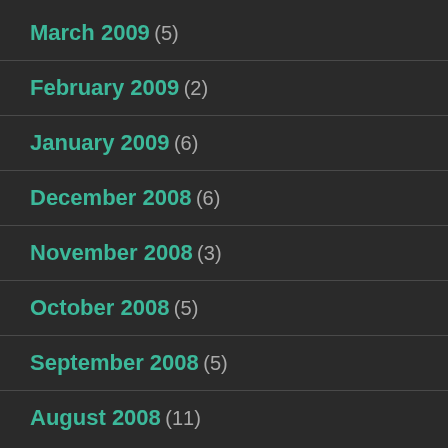March 2009 (5)
February 2009 (2)
January 2009 (6)
December 2008 (6)
November 2008 (3)
October 2008 (5)
September 2008 (5)
August 2008 (11)